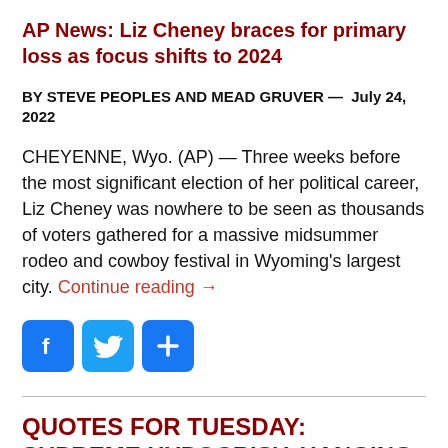AP News: Liz Cheney braces for primary loss as focus shifts to 2024
BY STEVE PEOPLES AND MEAD GRUVER —  July 24, 2022
CHEYENNE, Wyo. (AP) — Three weeks before the most significant election of her political career, Liz Cheney was nowhere to be seen as thousands of voters gathered for a massive midsummer rodeo and cowboy festival in Wyoming's largest city. Continue reading →
[Figure (other): Social media share buttons: Facebook, Twitter, and a plus/share button]
QUOTES FOR TUESDAY: SUPREME HYPOCRISY, HANGING ON TOO